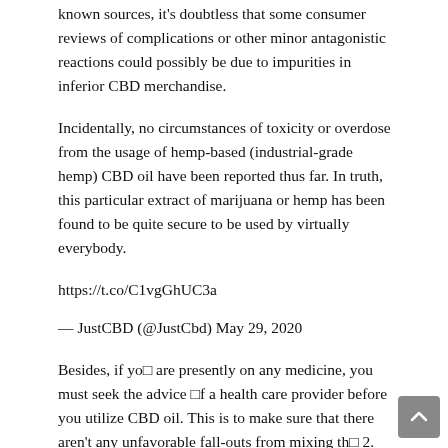known sources, it's doubtless that some consumer reviews of complications or other minor antagonistic reactions could possibly be due to impurities in inferior CBD merchandise.
Incidentally, no circumstances of toxicity or overdose from the usage of hemp-based (industrial-grade hemp) CBD oil have been reported thus far. In truth, this particular extract of marijuana or hemp has been found to be quite secure to be used by virtually everybody.
https://t.co/C1vgGhUC3a
— JustCBD (@JustCbd) May 29, 2020
Besides, if you are presently on any medicine, you must seek the advice of a health care provider before you utilize CBD oil. This is to make sure that there aren't any unfavorable fall-outs from mixing the 2. This can enhance the effects of certain medicine that are already in your system. For example, after utilizing CBD oil or different merchandise containing CBD, medication corresponding to ibuprofen and naproxen could also be more prone to cause certain dosage-associated side effects than regular.